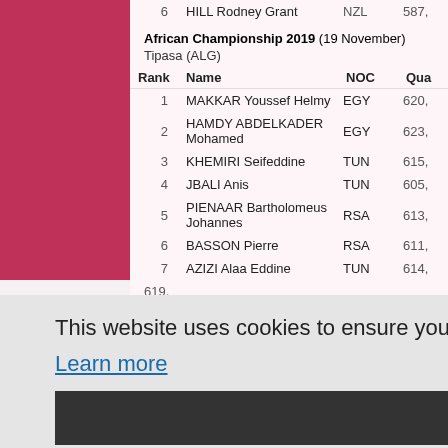| Rank | Name | NOC | Qua |
| --- | --- | --- | --- |
| 6 | HILL Rodney Grant | NZL | 587, |
African Championship 2019 (19 November)
Tipasa (ALG)
| Rank | Name | NOC | Qua |
| --- | --- | --- | --- |
| 1 | MAKKAR Youssef Helmy | EGY | 620, |
| 2 | HAMDY ABDELKADER Mohamed | EGY | 623, |
| 3 | KHEMIRI Seifeddine | TUN | 615, |
| 4 | JBALI Anis | TUN | 605, |
| 5 | PIENAAR Bartholomeus Johannes | RSA | 613, |
| 6 | BASSON Pierre | RSA | 611, |
| 7 | AZIZI Alaa Eddine | TUN | 614, |
619,
This website uses cookies to ensure you get the best experience on our website.
Learn more
Got it!
Qua
613,
606,
612,
617,
615,
606,
| Rank | Name | NOC | Qua |
| --- | --- | --- | --- |
| 7 | KHEMIRI Seifeddine | TUN | 617, |